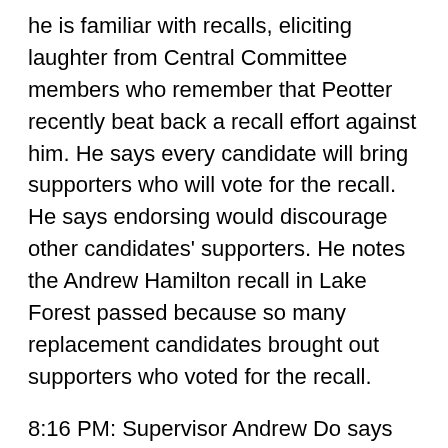he is familiar with recalls, eliciting laughter from Central Committee members who remember that Peotter recently beat back a recall effort against him. He says every candidate will bring supporters who will vote for the recall. He says endorsing would discourage other candidates' supporters. He notes the Andrew Hamilton recall in Lake Forest passed because so many replacement candidates brought out supporters who voted for the recall.
8:16 PM: Supervisor Andrew Do says Chang has consistently supported the party and gave up her safe Assembly seat to run for Senate. Do met her Chief of Staff at the Registrar when she sent him to the 2016 ballot counting, and Do has since hired that Chief of Staff. Do speaks of having the resources to win a swing seat.